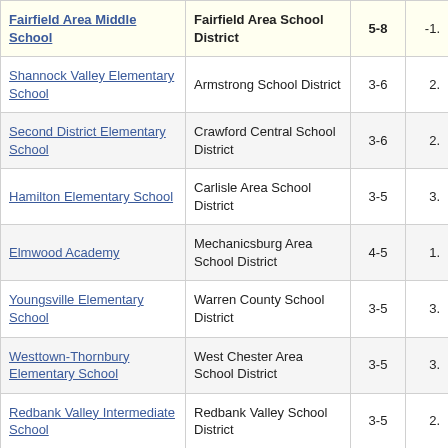| School | District | Grades | Value |
| --- | --- | --- | --- |
| Fairfield Area Middle School | Fairfield Area School District | 5-8 | -1. |
| Shannock Valley Elementary School | Armstrong School District | 3-6 | 2. |
| Second District Elementary School | Crawford Central School District | 3-6 | 2. |
| Hamilton Elementary School | Carlisle Area School District | 3-5 | 3. |
| Elmwood Academy | Mechanicsburg Area School District | 4-5 | 1. |
| Youngsville Elementary School | Warren County School District | 3-5 | 3. |
| Westtown-Thornbury Elementary School | West Chester Area School District | 3-5 | 3. |
| Redbank Valley Intermediate School | Redbank Valley School District | 3-5 | 2. |